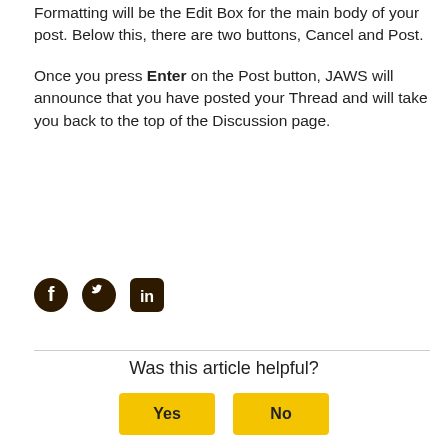Formatting will be the Edit Box for the main body of your post. Below this, there are two buttons, Cancel and Post.
Once you press Enter on the Post button, JAWS will announce that you have posted your Thread and will take you back to the top of the Discussion page.
[Figure (illustration): Social media icons: Facebook (circle with f), Twitter (bird), LinkedIn (square with in)]
Was this article helpful?